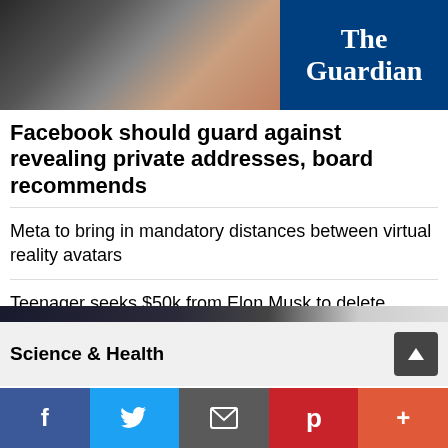[Figure (screenshot): Guardian website hero image showing a person and The Guardian logo on dark blue background]
Facebook should guard against revealing private addresses, board recommends
Meta to bring in mandatory distances between virtual reality avatars
Teenager seeks $50k from Elon Musk to delete Twitter bot tracking private jet
What your smart TV knows about you – and how to stop it harvesting data
Cabbage the Twitter-famous lost-and-found dog dies at 15
I've seen the metaverse – and I don't want it
Science & Health
[Figure (screenshot): Science and Health section photo strip at bottom]
Social share bar: Facebook, Twitter, Email, Pinterest, More